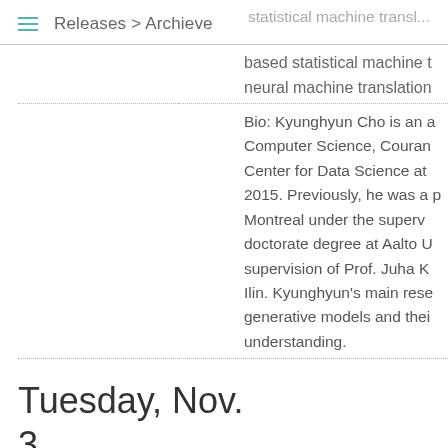Releases > Archieve
statistical machine translation ... based statistical machine translation ... neural machine translation
Bio: Kyunghyun Cho is an ... Computer Science, Couran... Center for Data Science at ... 2015. Previously, he was a p... Montreal under the superv... doctorate degree at Aalto U... supervision of Prof. Juha K... Ilin. Kyunghyun's main rese... generative models and thei... understanding.
Tuesday, Nov. 3